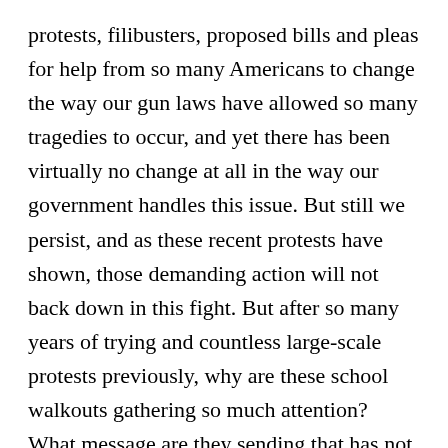protests, filibusters, proposed bills and pleas for help from so many Americans to change the way our gun laws have allowed so many tragedies to occur, and yet there has been virtually no change at all in the way our government handles this issue. But still we persist, and as these recent protests have shown, those demanding action will not back down in this fight. But after so many years of trying and countless large-scale protests previously, why are these school walkouts gathering so much attention? What message are they sending that has not already been sent? How are they different?
While there have been many protests to demand gun law reforms prior to the events on March 14, there are some things that set these walkouts apart from the rest. For one, these protests were extremely widespread, not concentrated in a few areas or regions. Wednesday's walkouts occurred in